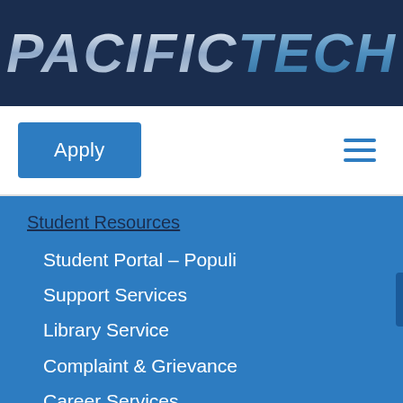[Figure (logo): PacificTech logo with 'PACIFIC' in silver metallic italic bold text and 'TECH' in blue metallic italic bold text on dark navy background]
Apply
[Figure (other): Hamburger menu icon with three horizontal blue lines]
Student Resources
Student Portal – Populi
Support Services
Library Service
Complaint & Grievance
Career Services
International Students